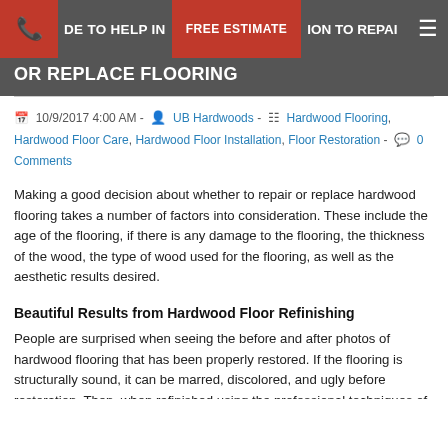A GUIDE TO HELP IN YOUR DECISION TO REPAIR OR REPLACE FLOORING
10/9/2017 4:00 AM - UB Hardwoods - Hardwood Flooring, Hardwood Floor Care, Hardwood Floor Installation, Floor Restoration - 0 Comments
Making a good decision about whether to repair or replace hardwood flooring takes a number of factors into consideration. These include the age of the flooring, if there is any damage to the flooring, the thickness of the wood, the type of wood used for the flooring, as well as the aesthetic results desired.
Beautiful Results from Hardwood Floor Refinishing
People are surprised when seeing the before and after photos of hardwood flooring that has been properly restored. If the flooring is structurally sound, it can be marred, discolored, and ugly before restoration. Then, when refinished using the professional techniques of U.B. Hardwoods, the results are stunningly beautiful.